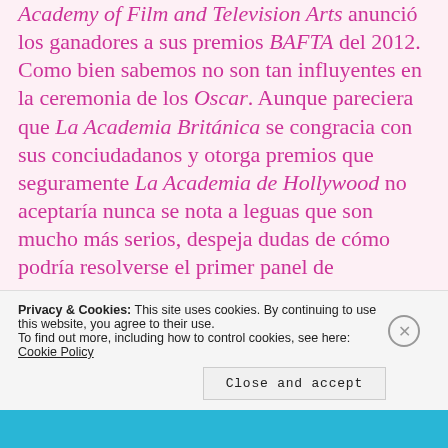Academy of Film and Television Arts anunció los ganadores a sus premios BAFTA del 2012. Como bien sabemos no son tan influyentes en la ceremonia de los Oscar. Aunque pareciera que La Academia Británica se congracia con sus conciudadanos y otorga premios que seguramente La Academia de Hollywood no aceptaría nunca se nota a leguas que son mucho más serios, despeja dudas de cómo podría resolverse el primer panel de
Privacy & Cookies: This site uses cookies. By continuing to use this website, you agree to their use. To find out more, including how to control cookies, see here: Cookie Policy
Close and accept